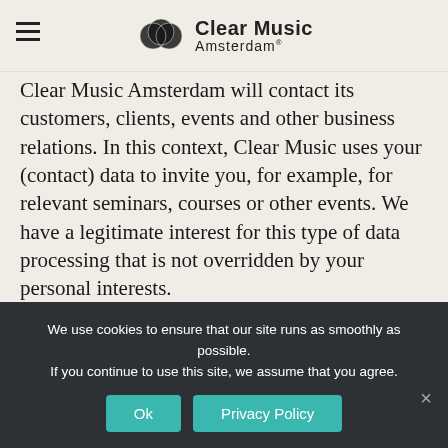Clear Music Amsterdam
Clear Music Amsterdam will contact its customers, clients, events and other business relations. In this context, Clear Music uses your (contact) data to invite you, for example, for relevant seminars, courses or other events. We have a legitimate interest for this type of data processing that is not overridden by your personal interests.
Contact
We use cookies to ensure that our site runs as smoothly as possible. If you continue to use this site, we assume that you agree.